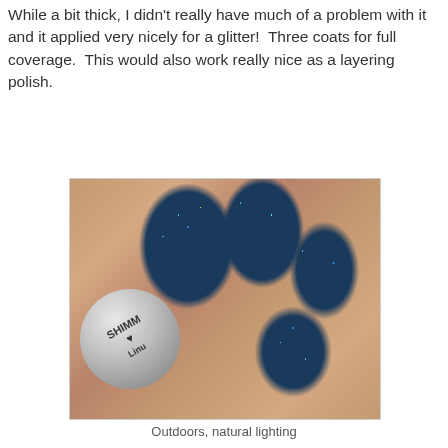While a bit thick, I didn't really have much of a problem with it and it applied very nicely for a glitter!  Three coats for full coverage.  This would also work really nice as a layering polish.
[Figure (photo): Close-up photo of fingernails painted with a dark blue/black glitter nail polish by Shimmer. A silver polish bottle cap with the brand name 'SHIMMER' is visible in the lower left. The nails show heavy glitter application with blue, teal, and gold sparkles. Label reads 'Outdoors, natural lighting'.]
Outdoors, natural lighting